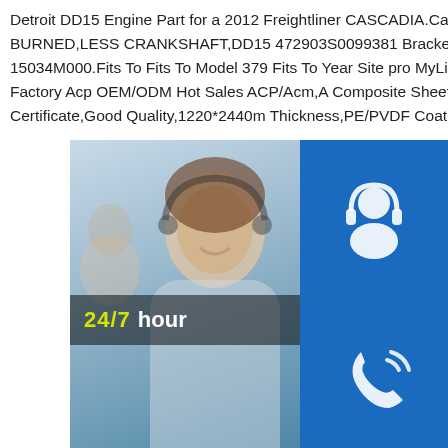Detroit DD15 Engine Part for a 2012 Freightliner CASCADIA.Call for price .ENGINE BURNED,LESS CRANKSHAFT,DD15 472903S0099381 Bracket,Eng Support,Rear #05-15034M000.Fits To Fits To Model 379 Fits To Year Site pro MyLittleSalesmanSignage Acp Factory Acp OEM/ODM Hot Sales ACP/Acm,A Composite Sheet,Fire-Proof Panels,Bu Certificate,Good Quality,1220*2440mm Thickness,PE/PVDF Coating Unit Pric
[Figure (photo): Customer service representative smiling with headset, overlaid with a blue chat widget showing 24/7 hour banner, headset icon, phone icon, Skype icon, and Click to chat button]
Some results are removed in respo local law requirement.For more info see here.China Alucobond Acp/acm Factory Manufacturers
Alucobond Acp/acm Factory.Competitive Quality Price 1)Materials A)Front Aluminum plate coated with PVDF or polyester B)Back Aluminum Plate coated with Polyester C)Core Fireproof plastic PVDF PE NANO ACP 2)Colors